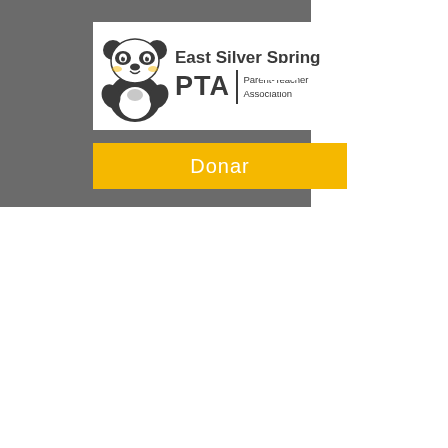[Figure (logo): East Silver Spring PTA (Parent-Teacher Association) logo with panda mascot icon on the left and text on the right]
Donar